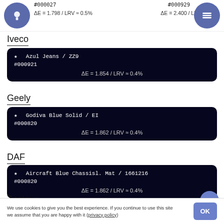#000027  ΔE = 1.798 / LRV ≈ 0.5%
#000929  ΔE = 2.400 / LRV ≈ 0.5%
Iveco
★  Azul Jeans / ZZ9
#000921
ΔE = 1.854 / LRV ≈ 0.4%
Geely
★  Godiva Blue Solid / EI
#000820
ΔE = 1.862 / LRV ≈ 0.4%
DAF
★  Aircraft Blue Chassisl. Mat / 1661216
#000820
ΔE = 1.862 / LRV ≈ 0.4%
Zastava
We use cookies to give you the best experience. If you continue to use this site we assume that you are happy with it (privacy policy)